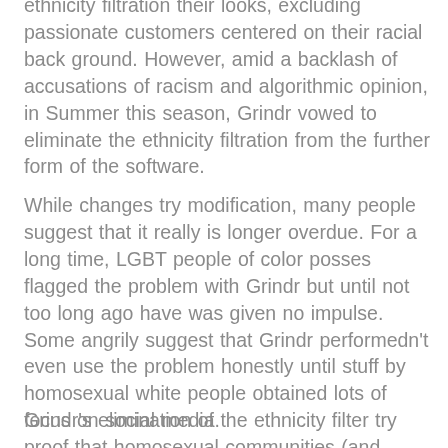ethnicity filtration their looks, excluding passionate customers centered on their racial back ground. However, amid a backlash of accusations of racism and algorithmic opinion, in Summer this season, Grindr vowed to eliminate the ethnicity filtration from the further form of the software.
While changes try modification, many people suggest that it really is longer overdue. For a long time, LGBT people of color posses flagged the problem with Grindr but until not too long ago have was given no impulse. Some angrily suggest that Grindr performedn't even use the problem honestly until stuff by homosexual white people obtained lots of focus on social media.
Grindr's elimination of the ethnicity filter try proof that homosexual communities (and therefore